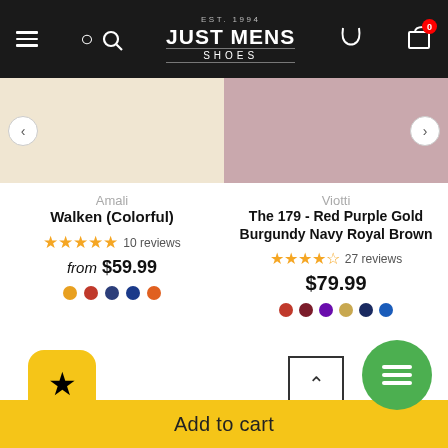EST. 1994 JUST MENS SHOES
Amali
Walken (Colorful)
★★★★★ 10 reviews
from $59.99
Viotti
The 179 - Red Purple Gold Burgundy Navy Royal Brown
★★★★☆ 27 reviews
$79.99
Add to cart